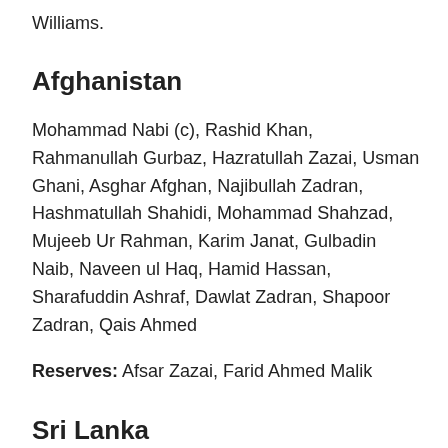Williams.
Afghanistan
Mohammad Nabi (c), Rashid Khan, Rahmanullah Gurbaz, Hazratullah Zazai, Usman Ghani, Asghar Afghan, Najibullah Zadran, Hashmatullah Shahidi, Mohammad Shahzad, Mujeeb Ur Rahman, Karim Janat, Gulbadin Naib, Naveen ul Haq, Hamid Hassan, Sharafuddin Ashraf, Dawlat Zadran, Shapoor Zadran, Qais Ahmed
Reserves: Afsar Zazai, Farid Ahmed Malik
Sri Lanka
Dasun Shanaka (c), Dhananjaya de Silva, Kusal Perera,